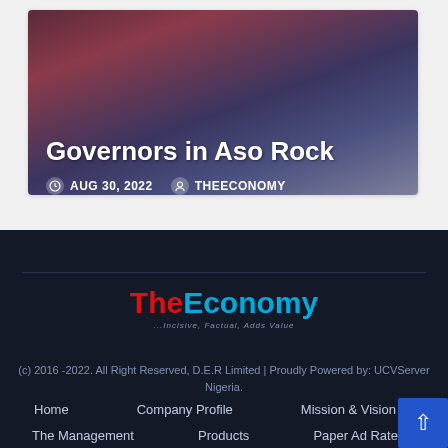[Figure (photo): Article card with photo background showing Governors in Aso Rock meeting scene, dark reddish-blue tones]
Governors in Aso Rock
AUG 30, 2022   THEECONOMY
[Figure (logo): TheEconomy logo with red 'The' and blue 'Economy' text and tagline '...Incisive, Factual, Adds Value']
(c) 2016 -2022. All Right Reserved, D.E.R Limited | Proudly Powered by: UCVServer Nigeria.
Home   Company Profile   Mission & Vision
The Management   Products   Paper Ad Rate